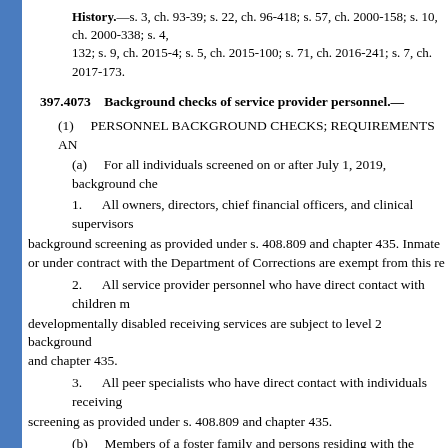History.—s. 3, ch. 93-39; s. 22, ch. 96-418; s. 57, ch. 2000-158; s. 10, ch. 2000-338; s. 4, 132; s. 9, ch. 2015-4; s. 5, ch. 2015-100; s. 71, ch. 2016-241; s. 7, ch. 2017-173.
397.4073 Background checks of service provider personnel.—
(1) PERSONNEL BACKGROUND CHECKS; REQUIREMENTS AND
(a) For all individuals screened on or after July 1, 2019, background che
1. All owners, directors, chief financial officers, and clinical supervisors background screening as provided under s. 408.809 and chapter 435. Inmate or under contract with the Department of Corrections are exempt from this re
2. All service provider personnel who have direct contact with children developmentally disabled receiving services are subject to level 2 background and chapter 435.
3. All peer specialists who have direct contact with individuals receiving screening as provided under s. 408.809 and chapter 435.
(b) Members of a foster family and persons residing with the foster fami are not required to be fingerprinted but must have their backgrounds checked foster family and persons residing with the foster family over 18 years of age
(c) A volunteer who assists on an intermittent basis for fewer than 40 ho constant supervision by persons who meet all personnel requirements of this background check requirements.
(d) Service providers that are exempt from licensing provisions of this c fingerprinting and background check requirements, except as otherwise prov religious organization exempt from licensure under this chapter is required to